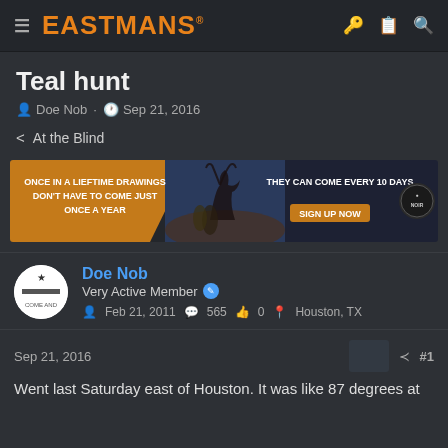EASTMANS
Teal hunt
Doe Nob · Sep 21, 2016
< At the Blind
[Figure (infographic): Advertisement banner: 'ONCE IN A LIEFTIME DRAWINGS DON'T HAVE TO COME JUST ONCE A YEAR' on left, elk hunting photo in center, 'THEY CAN COME EVERY 10 DAYS SIGN UP NOW' on right with logo]
Doe Nob
Very Active Member
Feb 21, 2011  565  0  Houston, TX
Sep 21, 2016  #1
Went last Saturday east of Houston. It was like 87 degrees at